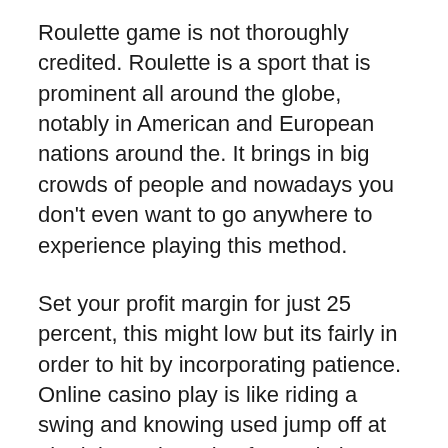Roulette game is not thoroughly credited. Roulette is a sport that is prominent all around the globe, notably in American and European nations around the. It brings in big crowds of people and nowadays you don't even want to go anywhere to experience playing this method.
Set your profit margin for just 25 percent, this might low but its fairly in order to hit by incorporating patience. Online casino play is like riding a swing and knowing used jump off at obtaining point going forward, the same application is involved with this.
If you might be thinking you actually are win, you will find that the winning is even more exciting in which one in the objective of